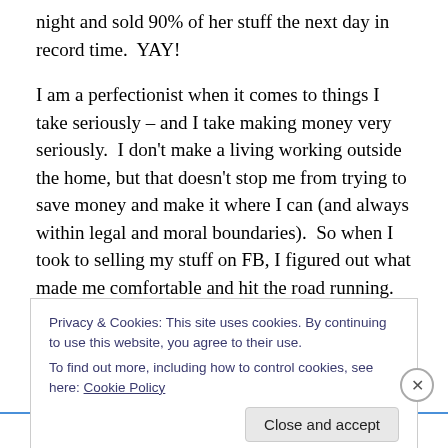night and sold 90% of her stuff the next day in record time.  YAY!
I am a perfectionist when it comes to things I take seriously – and I take making money very seriously.  I don't make a living working outside the home, but that doesn't stop me from trying to save money and make it where I can (and always within legal and moral boundaries).  So when I took to selling my stuff on FB, I figured out what made me comfortable and hit the road running.
Privacy & Cookies: This site uses cookies. By continuing to use this website, you agree to their use.
To find out more, including how to control cookies, see here: Cookie Policy
Close and accept
Advertisements